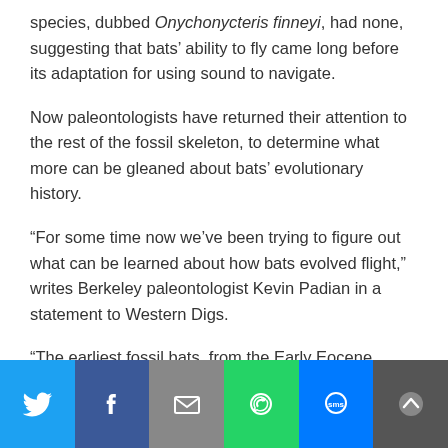species, dubbed Onychonycteris finneyi, had none, suggesting that bats' ability to fly came long before its adaptation for using sound to navigate.
Now paleontologists have returned their attention to the rest of the fossil skeleton, to determine what more can be gleaned about bats' evolutionary history.
“For some time now we’ve been trying to figure out what can be learned about how bats evolved flight,” writes Berkeley paleontologist Kevin Padian in a statement to Western Digs.
“The earliest fossil bats, from the Early Eocene (about 55 million years ago) are already fully-fledged, but they have some features that are somewhat different from today’s bats.”
[Figure (infographic): Social sharing footer bar with icons for Twitter, Facebook, Email, WhatsApp, SMS, and scroll-to-top button]